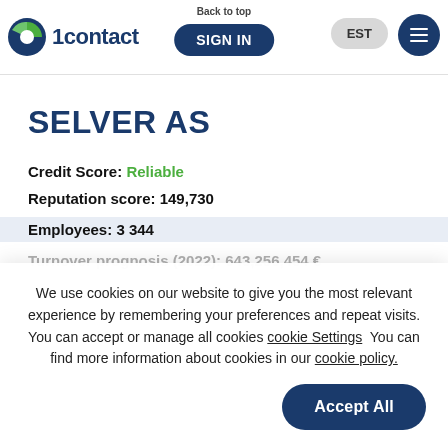Back to top | 1contact | SIGN IN | EST
SELVER AS
Credit Score: Reliable
Reputation score: 149,730
Employees: 3 344
Turnover prognosis (2022): 643,256,454 €
We use cookies on our website to give you the most relevant experience by remembering your preferences and repeat visits. You can accept or manage all cookies cookie Settings  You can find more information about cookies in our cookie policy.
Accept All